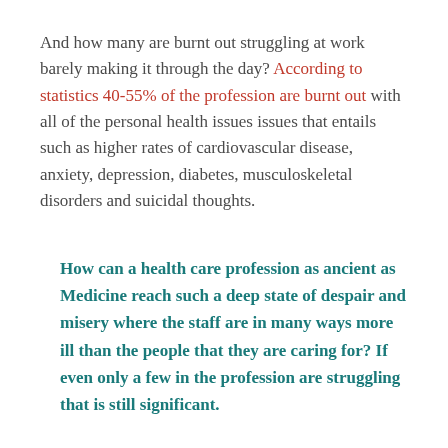And how many are burnt out struggling at work barely making it through the day? According to statistics 40-55% of the profession are burnt out with all of the personal health issues issues that entails such as higher rates of cardiovascular disease, anxiety, depression, diabetes, musculoskeletal disorders and suicidal thoughts.
How can a health care profession as ancient as Medicine reach such a deep state of despair and misery where the staff are in many ways more ill than the people that they are caring for? If even only a few in the profession are struggling that is still significant.